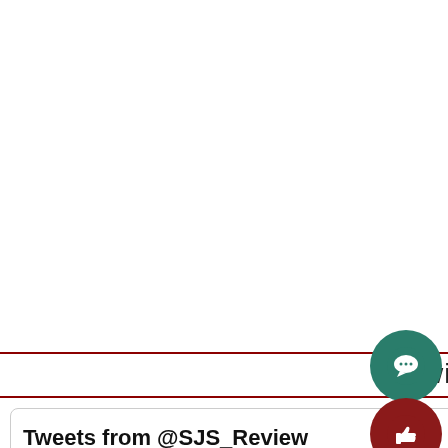twitter
Tweets from @SJS_Review
Follow